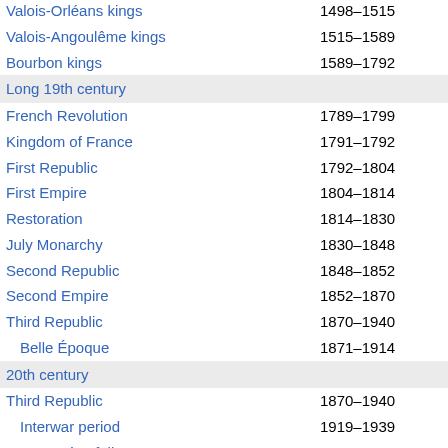Valois-Orléans kings 1498–1515
Valois-Angoulême kings 1515–1589
Bourbon kings 1589–1792
Long 19th century
French Revolution 1789–1799
Kingdom of France 1791–1792
First Republic 1792–1804
First Empire 1804–1814
Restoration 1814–1830
July Monarchy 1830–1848
Second Republic 1848–1852
Second Empire 1852–1870
Third Republic 1870–1940
Belle Époque 1871–1914
20th century
Third Republic 1870–1940
Interwar period 1919–1939
Années folles 1920–1929
Free France 1940–1944
Vichy France
Provisional Republic 1944–1946
Fourth Republic 1946–1958